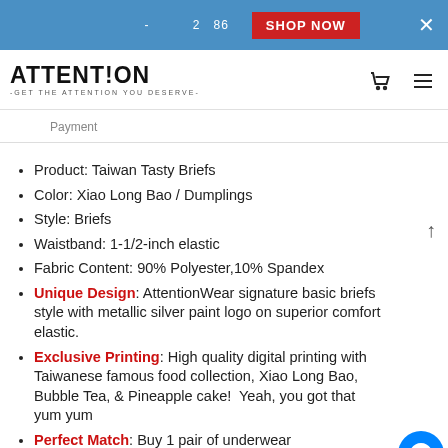ATTENT!ON -GET THE ATTENTION YOU DESERVE-
Payment
Product: Taiwan Tasty Briefs
Color: Xiao Long Bao / Dumplings
Style: Briefs
Waistband: 1-1/2-inch elastic
Fabric Content: 90% Polyester,10% Spandex
Unique Design: AttentionWear signature basic briefs style with metallic silver paint logo on superior comfort elastic.
Exclusive Printing: High quality digital printing with Taiwanese famous food collection, Xiao Long Bao, Bubble Tea, & Pineapple cake!  Yeah, you got that yum yum
Perfect Match: Buy 1 pair of underwear